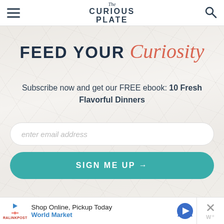The Curious Plate
[Figure (screenshot): Website newsletter signup page with marble background. Heading reads FEED YOUR Curiosity. Subtitle: Subscribe now and get our FREE ebook: 10 Fresh Flavorful Dinners. Email input field and SIGN ME UP button.]
FEED YOUR Curiosity
Subscribe now and get our FREE ebook: 10 Fresh Flavorful Dinners
enter email address
SIGN ME UP →
Shop Online, Pickup Today
World Market